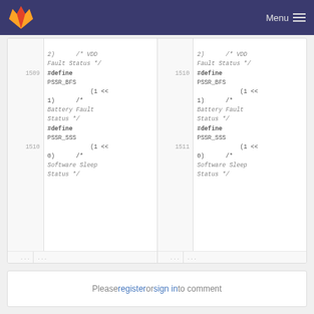GitLab - Menu
Code diff view showing lines 1509-1510 with #define PSSR_BFS (1 << 1) /* Battery Fault Status */ and #define PSSR_SSS (1 << 0) /* Software Sleep Status */
Please register or sign in to comment